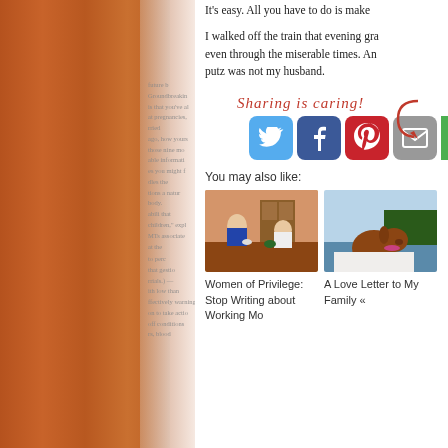It's easy. All you have to do is make...
I walked off the train that evening gra... even through the miserable times. And... putz was not my husband.
[Figure (infographic): Sharing is caring! social share buttons: Twitter, Facebook, Pinterest, Email, and a green button]
You may also like:
[Figure (photo): Two young children sitting at a wooden table]
Women of Privilege: Stop Writing about Working Mo...
[Figure (photo): A dog on a boat with water and trees in background]
A Love Letter to My Family «